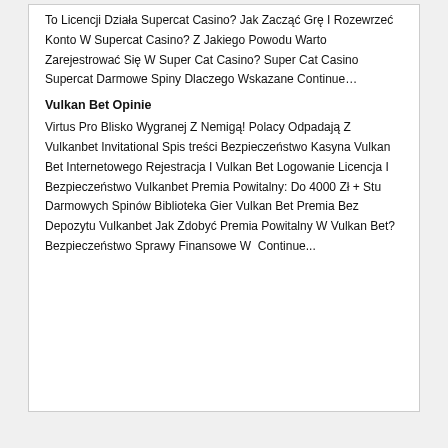To Licencji Działa Supercat Casino? Jak Zacząć Grę I Rozewrzeć Konto W Supercat Casino? Z Jakiego Powodu Warto Zarejestrować Się W Super Cat Casino? Super Cat Casino Supercat Darmowe Spiny Dlaczego Wskazane Continue…
Vulkan Bet Opinie
Virtus Pro Blisko Wygranej Z Nemigą! Polacy Odpadają Z Vulkanbet Invitational Spis treści Bezpieczeństwo Kasyna Vulkan Bet Internetowego Rejestracja I Vulkan Bet Logowanie Licencja I Bezpieczeństwo Vulkanbet Premia Powitalny: Do 4000 Zł + Stu Darmowych Spinów Biblioteka Gier Vulkan Bet Premia Bez Depozytu Vulkanbet Jak Zdobyć Premia Powitalny W Vulkan Bet? Bezpieczeństwo Sprawy Finansowe W  Continue...